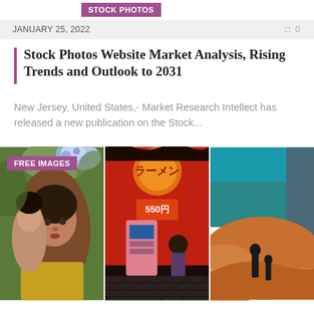STOCK PHOTOS
JANUARY 25, 2022   0 0
Stock Photos Website Market Analysis, Rising Trends and Outlook to 2031
New Jersey, United States,- Market Research Intellect has released a new publication on the Stock...
[Figure (photo): Three stock photos side by side: a woman with flowers, a Japanese street scene with vending machine, and a desert landscape with figures]
FREE IMAGES